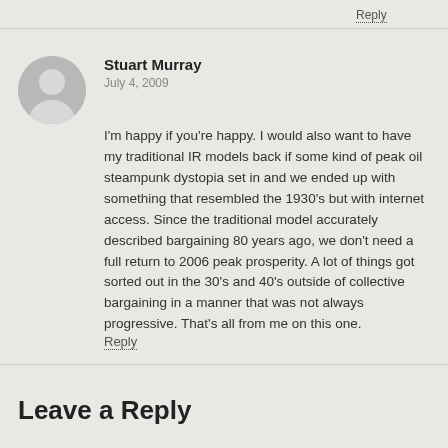Reply
Stuart Murray
July 4, 2009
I'm happy if you're happy. I would also want to have my traditional IR models back if some kind of peak oil steampunk dystopia set in and we ended up with something that resembled the 1930's but with internet access. Since the traditional model accurately described bargaining 80 years ago, we don't need a full return to 2006 peak prosperity. A lot of things got sorted out in the 30's and 40's outside of collective bargaining in a manner that was not always progressive. That's all from me on this one.
Reply
Leave a Reply